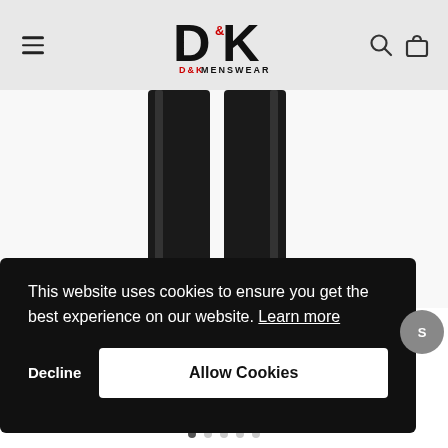[Figure (logo): D&K Menswear logo with stylized DK monogram and brand name below]
[Figure (photo): Close-up product photo of dark dress trousers/pants on a mannequin or model, showing lower body in black formal trousers against white background]
This website uses cookies to ensure you get the best experience on our website. Learn more
Decline
Allow Cookies